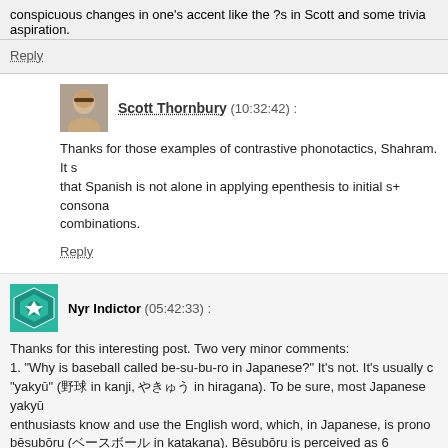conspicuous changes in one’s accent like the ?s in Scott and some trivial aspiration.
Reply
Scott Thornbury (10:32:42) :
Thanks for those examples of contrastive phonotactics, Shahram. It s that Spanish is not alone in applying epenthesis to initial s+ consona combinations.
Reply
Nyr Indictor (05:42:33) :
Thanks for this interesting post. Two very minor comments:
1. “Why is baseball called be-su-bu-ro in Japanese?” It’s not. It’s usually c “yakyū” (野球 in kanji, やきゅう in hiragana). To be sure, most Japanese yakyū enthusiasts know and use the English word, which, in Japanese, is prono bēsubōru (ベースボール in katakana). Bēsubōru is perceived as 6 syllables (prope morae), with the long vowels each counting as two units. The long ē is a rendering of the diphthong /eɪ/, but I’m not sure why the /ɔ/ becomes a lo